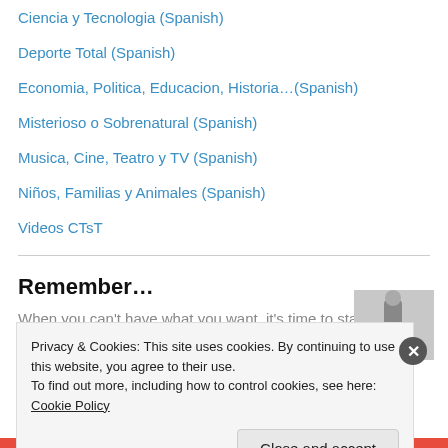Ciencia y Tecnologia (Spanish)
Deporte Total (Spanish)
Economia, Politica, Educacion, Historia…(Spanish)
Misterioso o Sobrenatural (Spanish)
Musica, Cine, Teatro y TV (Spanish)
Niños, Familias y Animales (Spanish)
Videos CTsT
Remember…
When you can't have what you want, it's time to start wanting what you
[Figure (photo): Grayscale image of a person or figure outdoors]
Privacy & Cookies: This site uses cookies. By continuing to use this website, you agree to their use.
To find out more, including how to control cookies, see here: Cookie Policy
Close and accept